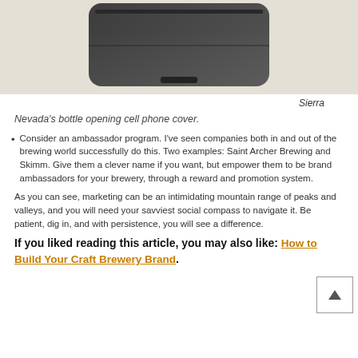[Figure (photo): A dark/black cell phone cover (Sierra Nevada bottle opening cell phone cover), viewed from above against a beige/cream background. The device is a rounded rectangular shape in dark charcoal/black.]
Sierra
Nevada's bottle opening cell phone cover.
Consider an ambassador program. I've seen companies both in and out of the brewing world successfully do this. Two examples: Saint Archer Brewing and Skimm. Give them a clever name if you want, but empower them to be brand ambassadors for your brewery, through a reward and promotion system.
As you can see, marketing can be an intimidating mountain range of peaks and valleys, and you will need your savviest social compass to navigate it. Be patient, dig in, and with persistence, you will see a difference.
If you liked reading this article, you may also like: How to Build Your Craft Brewery Brand.